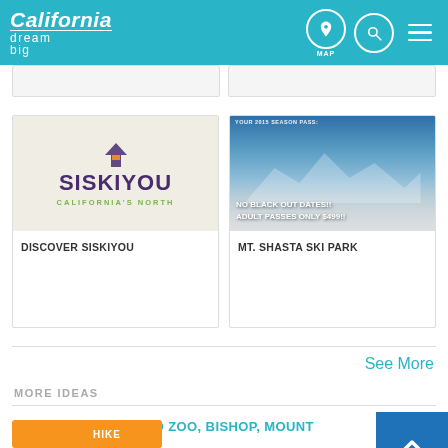California dream big — MAP
[Figure (logo): Siskiyou California's North logo card with Siskiyou text and arrow icon]
DISCOVER SISKIYOU
[Figure (photo): Mt. Shasta ski park photo with snow-covered mountain and text: NO BLACK OUT DATES!! ADULT PASSES ONLY $499!!]
MT. SHASTA SKI PARK
See More
MORE IDEAS
PODCAST: SAN DIEGO ZOO, BISHOP, MOUNT SHASTA ▶